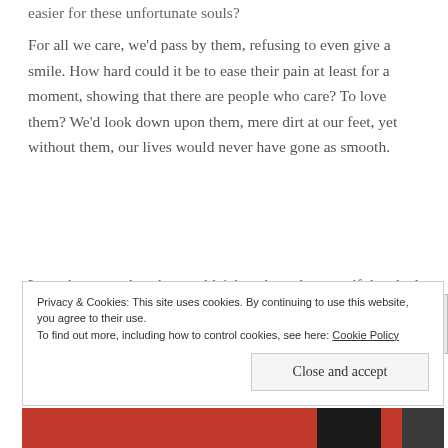easier for these unfortunate souls?
For all we care, we'd pass by them, refusing to even give a smile. How hard could it be to ease their pain at least for a moment, showing that there are people who care? To love them? We'd look down upon them, mere dirt at our feet, yet without them, our lives would never have gone as smooth.
Love these angels, who wouldn't be where they are, if they had a choice.
Give them a heart that is filled with affection and
Privacy & Cookies: This site uses cookies. By continuing to use this website, you agree to their use.
To find out more, including how to control cookies, see here: Cookie Policy
Close and accept